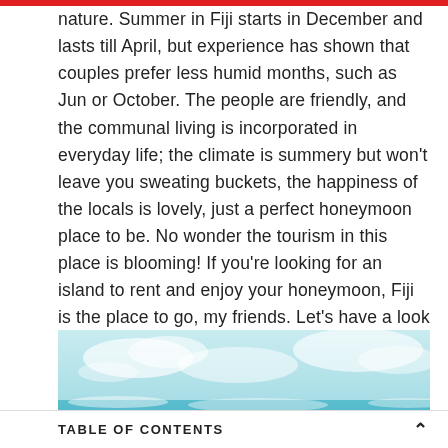nature. Summer in Fiji starts in December and lasts till April, but experience has shown that couples prefer less humid months, such as Jun or October. The people are friendly, and the communal living is incorporated in everyday life; the climate is summery but won't leave you sweating buckets, the happiness of the locals is lovely, just a perfect honeymoon place to be. No wonder the tourism in this place is blooming! If you're looking for an island to rent and enjoy your honeymoon, Fiji is the place to go, my friends. Let's have a look at the popular ones.
[Figure (photo): A partial view of a tropical beach scene with turquoise sea water, waves, and a light blue sky with clouds.]
TABLE OF CONTENTS ∧